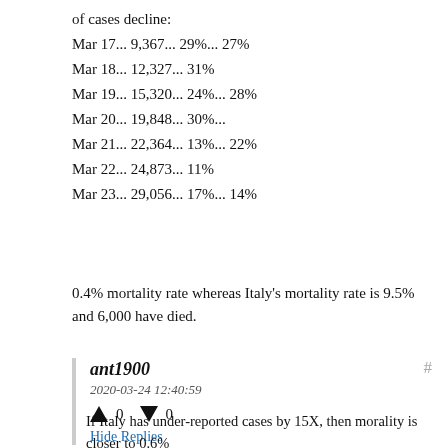of cases decline:
Mar 17... 9,367... 29%... 27%
Mar 18... 12,327... 31%
Mar 19... 15,320... 24%... 28%
Mar 20... 19,848... 30%...
Mar 21... 22,364... 13%... 22%
Mar 22... 24,873... 11%
Mar 23... 29,056... 17%... 14%
0.4% mortality rate whereas Italy's mortality rate is 9.5% and 6,000 have died.
ant1900
2020-03-24 12:40:59
↑ 0 ↓ 0
Hide Replies
If Italy has under-reported cases by 15X, then morality is closer to 0.6%